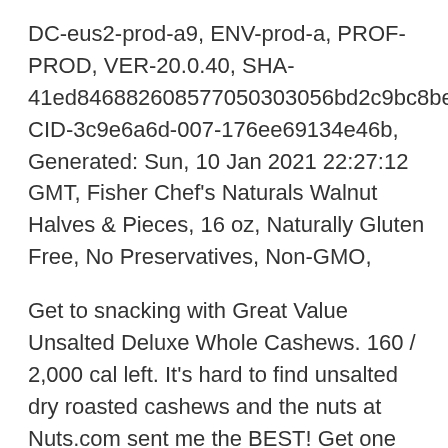DC-eus2-prod-a9, ENV-prod-a, PROF-PROD, VER-20.0.40, SHA-41ed846882608577050303056bd2c9bc8be5b55386, CID-3c9e6a6d-007-176ee69134e46b, Generated: Sun, 10 Jan 2021 22:27:12 GMT, Fisher Chef's Naturals Walnut Halves & Pieces, 16 oz, Naturally Gluten Free, No Preservatives, Non-GMO,
Get to snacking with Great Value Unsalted Deluxe Whole Cashews. 160 / 2,000 cal left. It's hard to find unsalted dry roasted cashews and the nuts at Nuts.com sent me the BEST! Get one hour grocery delivery. 9 oz. Daily Goals. Our products are conveniently available online and